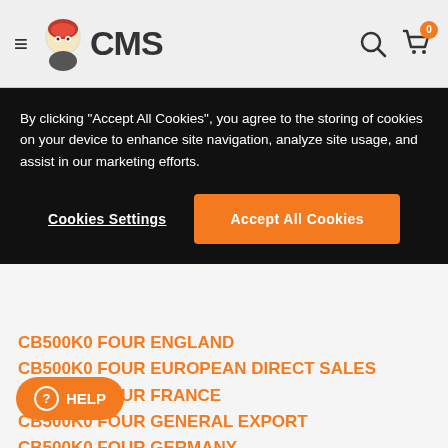CMS – Hamburger menu, search, cart (0)
By clicking "Accept All Cookies", you agree to the storing of cookies on your device to enhance site navigation, analyze site usage, and assist in our marketing efforts.
Cookies Settings | Accept All Cookies
CB500K0 FOUR ENGLAND
CB500K0 FOUR EUROPEAN DIRECT SALES
CB500K0 FOUR FRANCE
CB500K0 FOUR GENERAL EXPORT
CB500K0 FOUR GERMANY
CB500K0 FOUR NETHERLANDS
CB500K1 FOUR ENGLAND
CB500K1 FOUR EUROPEAN DIRECT SALES
This product fits to 40 models. We are showing the first 10. Please log in to see all models.